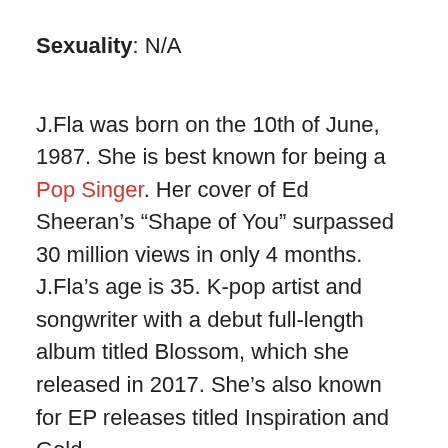Sexuality: N/A
J.Fla was born on the 10th of June, 1987. She is best known for being a Pop Singer. Her cover of Ed Sheeran’s “Shape of You” surpassed 30 million views in only 4 months. J.Fla’s age is 35. K-pop artist and songwriter with a debut full-length album titled Blossom, which she released in 2017. She’s also known for EP releases titled Inspiration and Gold.
The 35-year-old pop singer was born in South Korea. In August of 2011, her cover of Beyonce’s “Halo” was her first for her